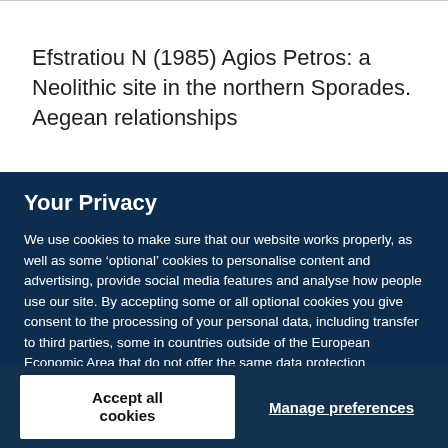Efstratiou N (1985) Agios Petros: a Neolithic site in the northern Sporades. Aegean relationships
Your Privacy
We use cookies to make sure that our website works properly, as well as some ‘optional’ cookies to personalise content and advertising, provide social media features and analyse how people use our site. By accepting some or all optional cookies you give consent to the processing of your personal data, including transfer to third parties, some in countries outside of the European Economic Area that do not offer the same data protection standards as the country where you live. You can decide which optional cookies to accept by clicking on ‘Manage Settings’, where you can also find more information about how your personal data is processed. Further information can be found in our privacy policy.
Accept all cookies
Manage preferences